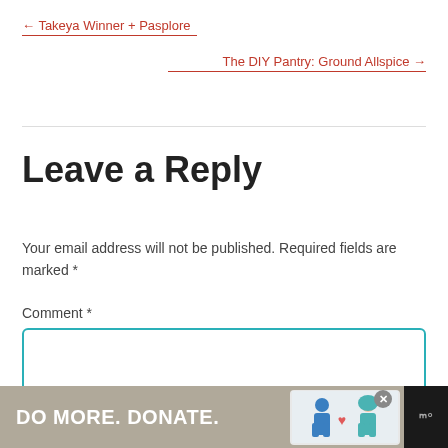← Takeya Winner + Pasplore
The DIY Pantry: Ground Allspice →
Leave a Reply
Your email address will not be published. Required fields are marked *
Comment *
[Figure (other): Comment text input area (textarea form field with teal border)]
[Figure (other): Advertisement banner: DO MORE. DONATE. with illustration of two people and a logo on dark background]